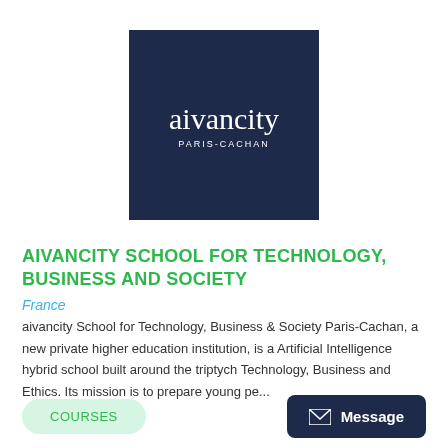[Figure (logo): Aivancity Paris-Cachan logo: white serif text 'aivancity' and smaller caps 'PARIS-CACHAN' on a dark navy blue square background.]
AIVANCITY SCHOOL FOR TECHNOLOGY, BUSINESS AND SOCIETY
France
aivancity School for Technology, Business & Society Paris-Cachan, a new private higher education institution, is a Artificial Intelligence hybrid school built around the triptych Technology, Business and Ethics. Its mission is to prepare young pe...